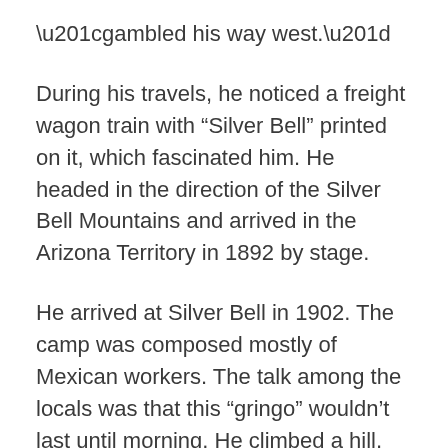“gambled his way west.”
During his travels, he noticed a freight wagon train with “Silver Bell” printed on it, which fascinated him. He headed in the direction of the Silver Bell Mountains and arrived in the Arizona Territory in 1892 by stage.
He arrived at Silver Bell in 1902. The camp was composed mostly of Mexican workers. The talk among the locals was that this “gringo” wouldn’t last until morning. He climbed a hill, entered a tent, and went to bed. In the morning, January 15, 1902, he learned that a knifing had taken the life of Jesus Alvarez. Regino Geral was cleared of the charge of murder due to self-defense.
At Silver Bell, Glenn went into the mercantile business, acquiring a very large building, leasing